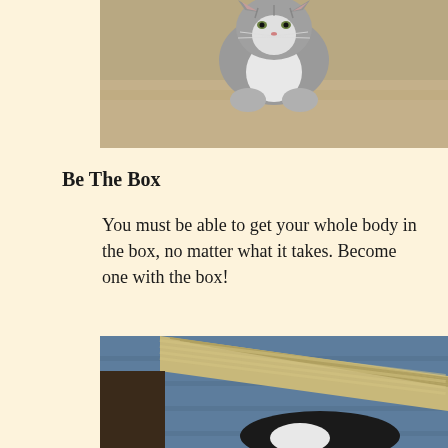[Figure (photo): Close-up photo of a small gray and white kitten sitting on sandy ground, looking at camera]
Be The Box
You must be able to get your whole body in the box, no matter what it takes. Become one with the box!
[Figure (photo): Close-up photo showing a cat inside a cardboard box, visible through the opening with blue fabric/carpet background and corrugated cardboard edge]